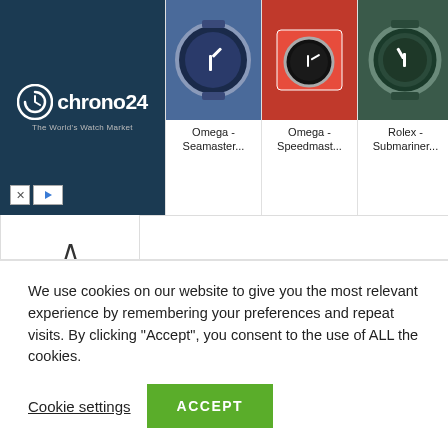[Figure (screenshot): Chrono24 advertisement banner showing logo on left with dark blue background and four watch product images on the right: Omega Seamaster, Omega Speedmaster, Rolex Submariner, Omega Seamaster]
[Figure (screenshot): Scroll-up arrow button UI element]
We use cookies on our website to give you the most relevant experience by remembering your preferences and repeat visits. By clicking “Accept”, you consent to the use of ALL the cookies.
Cookie settings
ACCEPT